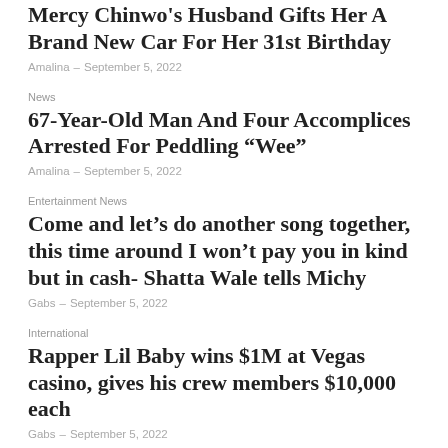Mercy Chinwo's Husband Gifts Her A Brand New Car For Her 31st Birthday
Amalina – September 5, 2022
News
67-Year-Old Man And Four Accomplices Arrested For Peddling “Wee”
Amalina – September 5, 2022
Entertainment News
Come and let’s do another song together, this time around I won’t pay you in kind but in cash- Shatta Wale tells Michy
Gabs – September 5, 2022
International
Rapper Lil Baby wins $1M at Vegas casino, gives his crew members $10,000 each
Gabs – September 5, 2022